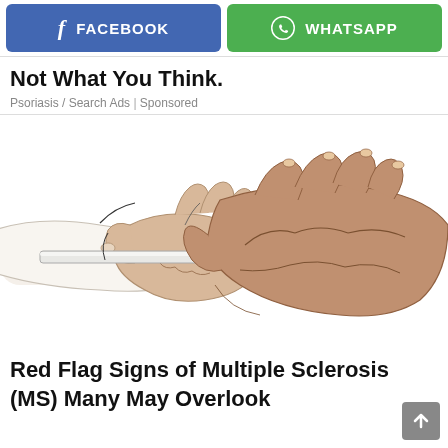[Figure (screenshot): Facebook and WhatsApp share buttons at the top of a mobile webpage]
Not What You Think.
Psoriasis / Search Ads | Sponsored
[Figure (illustration): Illustrated image of two hands clasping together, one lighter-skinned and one darker-skinned, with a stylized artistic rendering]
Red Flag Signs of Multiple Sclerosis (MS) Many May Overlook